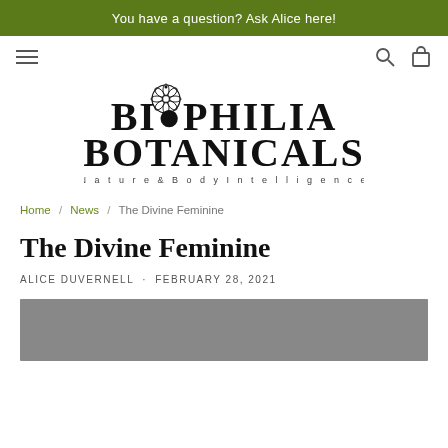You have a question? Ask Alice here!
[Figure (logo): Biophilia Botanicals logo with decorative botanical circular emblem. Text reads: BIOPHILIA BOTANICALS Nature & Body Intelligence]
Home / News / The Divine Feminine
The Divine Feminine
ALICE DUVERNELL  ·  FEBRUARY 28, 2021
[Figure (photo): Gray rectangular image placeholder at bottom of page]